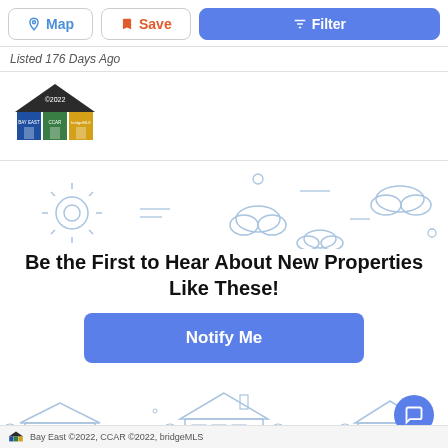Map | Save | Filter
Listed 176 Days Ago
[Figure (logo): Bay East / CCAR / bridgeMLS house logo with ©2022]
[Figure (illustration): Light blue outline illustration of sun, clouds, and houses background for CTA section]
Be the First to Hear About New Properties Like These!
Notify Me
Bay East ©2022, CCAR ©2022, bridgeMLS